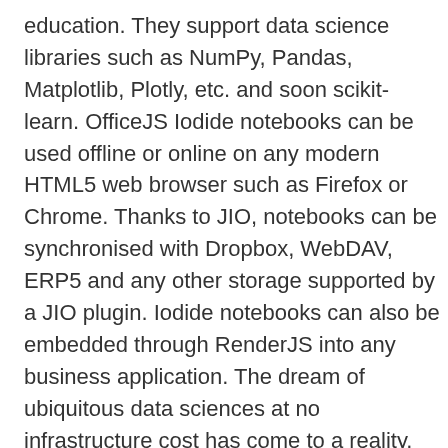education. They support data science libraries such as NumPy, Pandas, Matplotlib, Plotly, etc. and soon scikit-learn. OfficeJS Iodide notebooks can be used offline or online on any modern HTML5 web browser such as Firefox or Chrome. Thanks to JIO, notebooks can be synchronised with Dropbox, WebDAV, ERP5 and any other storage supported by a JIO plugin. Iodide notebooks can also be embedded through RenderJS into any business application. The dream of ubiquitous data sciences at no infrastructure cost has come to a reality.
0 comment | Share: [Facebook] [Twitter] | Categories core ; business template ; update